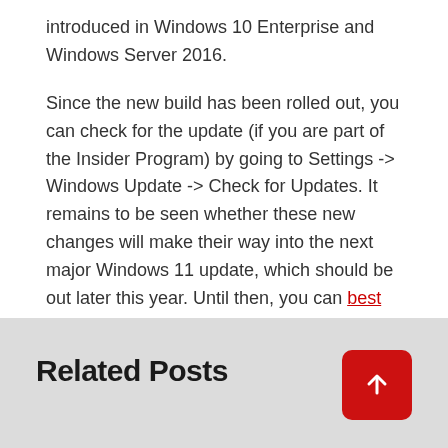introduced in Windows 10 Enterprise and Windows Server 2016.
Since the new build has been rolled out, you can check for the update (if you are part of the Insider Program) by going to Settings -> Windows Update -> Check for Updates. It remains to be seen whether these new changes will make their way into the next major Windows 11 update, which should be out later this year. Until then, you can best windows 11 features you should use here.
Related Posts